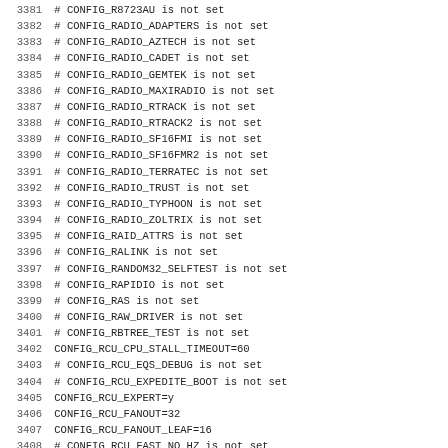3381 # CONFIG_R8723AU is not set
3382 # CONFIG_RADIO_ADAPTERS is not set
3383 # CONFIG_RADIO_AZTECH is not set
3384 # CONFIG_RADIO_CADET is not set
3385 # CONFIG_RADIO_GEMTEK is not set
3386 # CONFIG_RADIO_MAXIRADIO is not set
3387 # CONFIG_RADIO_RTRACK is not set
3388 # CONFIG_RADIO_RTRACK2 is not set
3389 # CONFIG_RADIO_SF16FMI is not set
3390 # CONFIG_RADIO_SF16FMR2 is not set
3391 # CONFIG_RADIO_TERRATEC is not set
3392 # CONFIG_RADIO_TRUST is not set
3393 # CONFIG_RADIO_TYPHOON is not set
3394 # CONFIG_RADIO_ZOLTRIX is not set
3395 # CONFIG_RAID_ATTRS is not set
3396 # CONFIG_RALINK is not set
3397 # CONFIG_RANDOM32_SELFTEST is not set
3398 # CONFIG_RAPIDIO is not set
3399 # CONFIG_RAS is not set
3400 # CONFIG_RAW_DRIVER is not set
3401 # CONFIG_RBTREE_TEST is not set
3402 CONFIG_RCU_CPU_STALL_TIMEOUT=60
3403 # CONFIG_RCU_EQS_DEBUG is not set
3404 # CONFIG_RCU_EXPEDITE_BOOT is not set
3405 CONFIG_RCU_EXPERT=y
3406 CONFIG_RCU_FANOUT=32
3407 CONFIG_RCU_FANOUT_LEAF=16
3408 # CONFIG_RCU_FAST_NO_HZ is not set
3409 CONFIG_RCU_KTHREAD_PRIO=0
3410 # CONFIG_RCU_NOCB_CPU is not set
3411 # CONFIG_RCU_PERF_TEST is not set
3412 # CONFIG_RCU_TORTURE_TEST is not set
3413 CONFIG_RCU_TORTURE_TEST_SLOW_INIT_DELAY=0